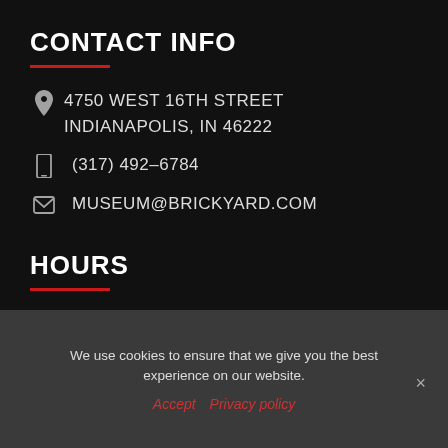CONTACT INFO
4750 WEST 16TH STREET
INDIANAPOLIS, IN 46222
(317) 492-6784
MUSEUM@BRICKYARD.COM
HOURS
9AM-5PM   MAR-OCT
We use cookies to ensure that we give you the best experience on our website.
Accept  Privacy policy